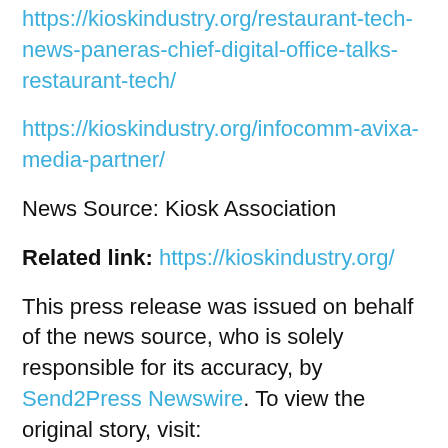https://kioskindustry.org/restaurant-tech-news-paneras-chief-digital-office-talks-restaurant-tech/
https://kioskindustry.org/infocomm-avixa-media-partner/
News Source: Kiosk Association
Related link: https://kioskindustry.org/
This press release was issued on behalf of the news source, who is solely responsible for its accuracy, by Send2Press Newswire. To view the original story, visit: https://www.send2press.com/wire/kiosk-association-april-2022-restaurant-tech-trends-with-panera-and-chipotle-nra-preview/